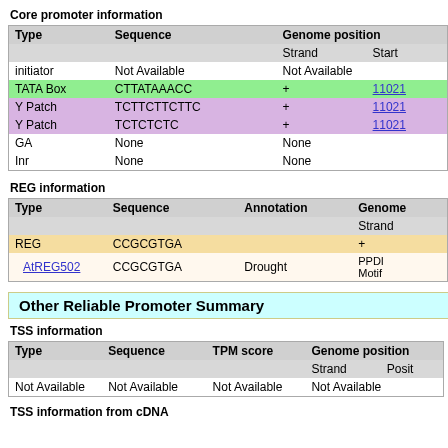Core promoter information
| Type | Sequence | Genome position |  |
| --- | --- | --- | --- |
|  |  | Strand | Start |
| initiator | Not Available | Not Available |  |
| TATA Box | CTTATAAACC | + | 11021... |
| Y Patch | TCTTCTTCTTC | + | 11021... |
| Y Patch | TCTCTCTC | + | 11021... |
| GA | None | None |  |
| Inr | None | None |  |
REG information
| Type | Sequence | Annotation | Genome position (Strand) |
| --- | --- | --- | --- |
| REG | CCGCGTGA |  | + |
| AtREG502 | CCGCGTGA | Drought | PPDI Motif |
Other Reliable Promoter Summary
TSS information
| Type | Sequence | TPM score | Genome position |  |
| --- | --- | --- | --- | --- |
|  |  |  | Strand | Position |
| Not Available | Not Available | Not Available | Not Available |  |
TSS information from cDNA